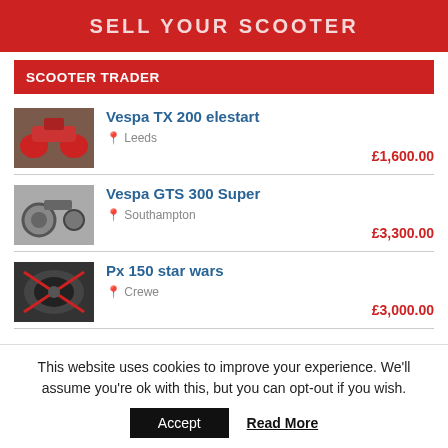[Figure (screenshot): Red banner with white text 'SELL YOUR SCOOTER' partially visible at top]
SCOOTER TRADER
Vespa TX 200 elestart — Leeds — £1,600.00
Vespa GTS 300 Super — Southampton — £3,300.00
Px 150 star wars — Crewe — £3,000.00
This website uses cookies to improve your experience. We'll assume you're ok with this, but you can opt-out if you wish.